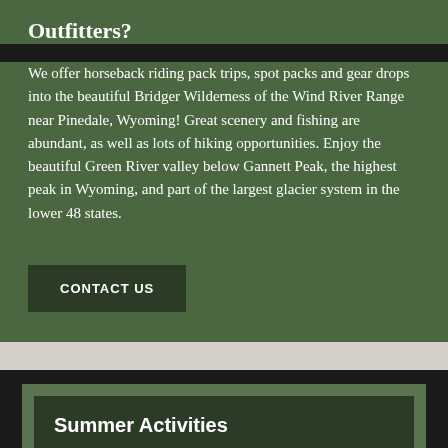Outfitters?
We offer horseback riding pack trips, spot packs and gear drops into the beautiful Bridger Wilderness of the Wind River Range near Pinedale, Wyoming! Great scenery and fishing are abundant, as well as lots of hiking opportunities. Enjoy the beautiful Green River valley below Gannett Peak, the highest peak in Wyoming, and part of the largest glacier system in the lower 48 states.
CONTACT US
Summer Activities
[Figure (logo): Facebook logo icon (letter f) on blue background bar]